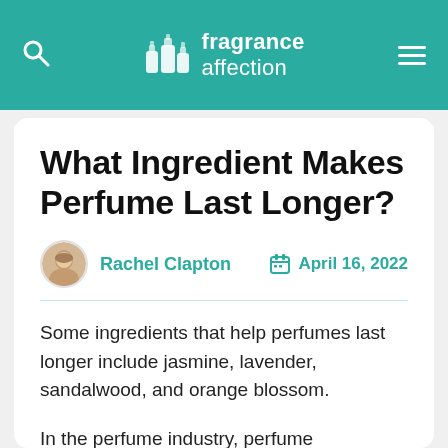fragrance affection
What Ingredient Makes Perfume Last Longer?
Rachel Clapton   April 16, 2022
Some ingredients that help perfumes last longer include jasmine, lavender, sandalwood, and orange blossom.
In the perfume industry, perfume ingredients are known as fixatives, and they help hold a